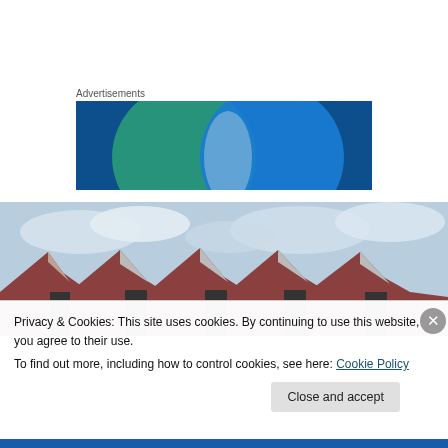Advertisements
[Figure (illustration): Advertisement banner with two overlapping circles — teal/green on the left and blue on the right — on a dark blue background, creating a Venn diagram-like graphic]
[Figure (photo): Photograph of angular red-brick zigzag architectural rooftops against a cloudy sky, taken from a low angle looking upward]
Privacy & Cookies: This site uses cookies. By continuing to use this website, you agree to their use.
To find out more, including how to control cookies, see here: Cookie Policy
Close and accept